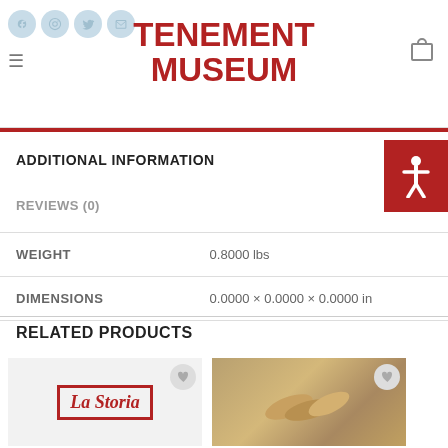TENEMENT MUSEUM
ADDITIONAL INFORMATION
REVIEWS (0)
|  |  |
| --- | --- |
| WEIGHT | 0.8000 lbs |
| DIMENSIONS | 0.0000 × 0.0000 × 0.0000 in |
RELATED PRODUCTS
[Figure (photo): La Storia book cover product card]
[Figure (photo): Food/ginger product card image]